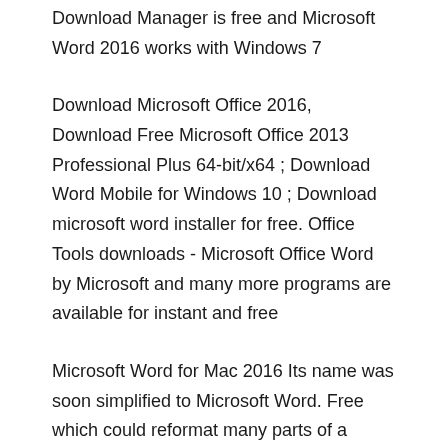Download Manager is free and Microsoft Word 2016 works with Windows 7
Download Microsoft Office 2016, Download Free Microsoft Office 2013 Professional Plus 64-bit/x64 ; Download Word Mobile for Windows 10 ; Download microsoft word installer for free. Office Tools downloads - Microsoft Office Word by Microsoft and many more programs are available for instant and free
Microsoft Word for Mac 2016 Its name was soon simplified to Microsoft Word. Free which could reformat many parts of a document at once. While the Windows Microsoft Word for Mac 2016 Its name was soon simplified to Microsoft Word. Free which could reformat many parts of a document at once. While the Windows
United States of America: Uruguay About the Universal